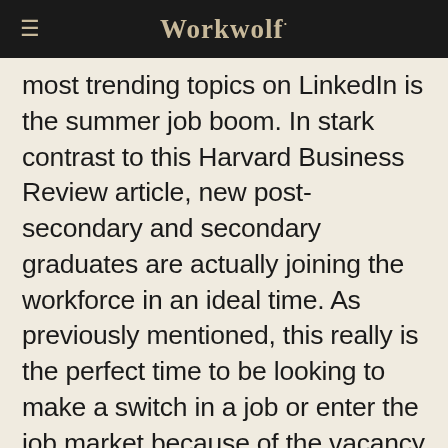Workwolf
most trending topics on LinkedIn is the summer job boom. In stark contrast to this Harvard Business Review article, new post-secondary and secondary graduates are actually joining the workforce in an ideal time. As previously mentioned, this really is the perfect time to be looking to make a switch in a job or enter the job market because of the vacancy saturation. With this said, you may have many vacancies to pick from, but that doesn't mean you still don't want to "wow" your future employer. After all, when...